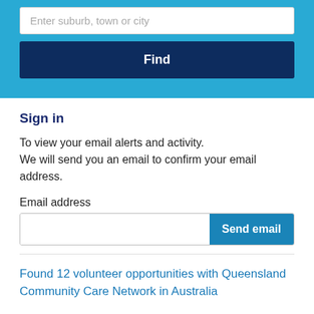Enter suburb, town or city
Find
Sign in
To view your email alerts and activity. We will send you an email to confirm your email address.
Email address
Send email
Found 12 volunteer opportunities with Queensland Community Care Network in Australia